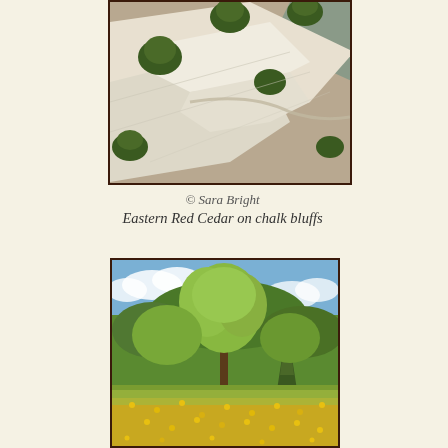[Figure (photo): Aerial view of Eastern Red Cedar trees growing on white chalk bluffs beside a river]
© Sara Bright
Eastern Red Cedar on chalk bluffs
[Figure (photo): Eastern Red Cedar tree in a field with yellow wildflowers in the foreground and blue sky above]